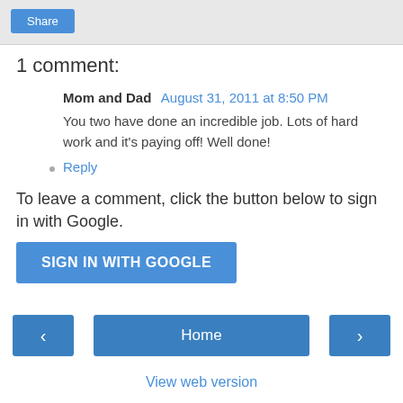[Figure (other): Share button in grey top bar]
1 comment:
Mom and Dad  August 31, 2011 at 8:50 PM
You two have done an incredible job. Lots of hard work and it's paying off! Well done!
Reply
To leave a comment, click the button below to sign in with Google.
[Figure (other): SIGN IN WITH GOOGLE button]
[Figure (other): Navigation bar with left arrow, Home button, right arrow]
View web version